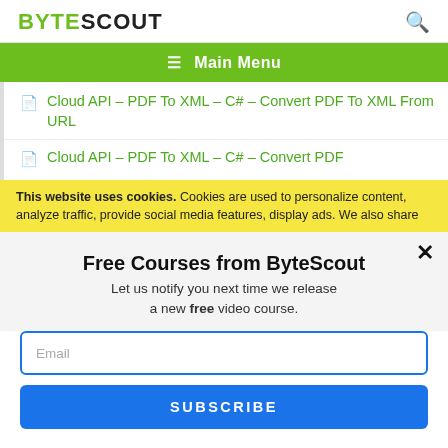BYTESCOUT
≡  Main Menu
Cloud API – PDF To XML – C# – Convert PDF To XML From URL
Cloud API – PDF To XML – C# – Convert PDF
This website uses cookies. Cookies are used to personalize content, analyze traffic, provide social media features, display ads. We also share
Free Courses from ByteScout
Let us notify you next time we release a new free video course.
Email
SUBSCRIBE